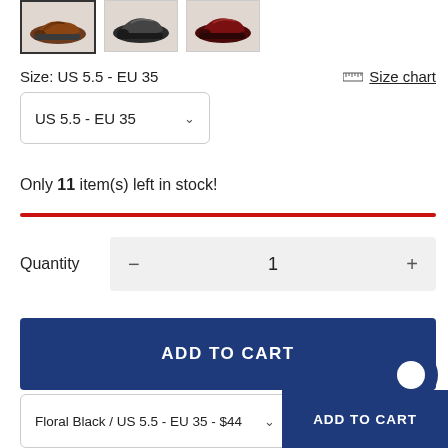[Figure (photo): Three thumbnail images of shoes: a brown/black floral shoe (selected, with dark border), a dark sneaker, and a dark red/maroon shoe]
Size: US 5.5 - EU 35
Size chart
US 5.5 - EU 35
Only 11 item(s) left in stock!
Quantity  −  1  +
ADD TO CART
Floral Black / US 5.5 - EU 35 - $44
ADD TO CART